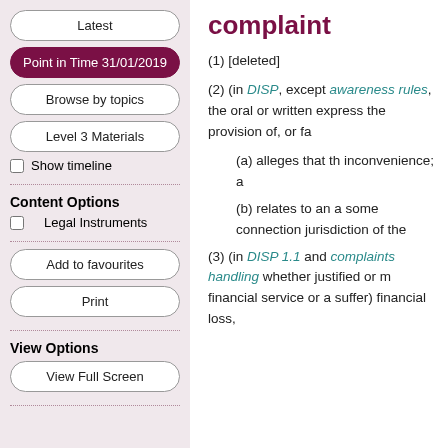Latest
Point in Time 31/01/2019
Browse by topics
Level 3 Materials
Show timeline
Content Options
Legal Instruments
Add to favourites
Print
View Options
View Full Screen
complaint
(1) [deleted]
(2) (in DISP, except awareness rules, the oral or written expression of the provision of, or fa
(a) alleges that th inconvenience; a
(b) relates to an a some connection jurisdiction of the
(3) (in DISP 1.1 and complaints handling whether justified or m financial service or a suffer) financial loss,